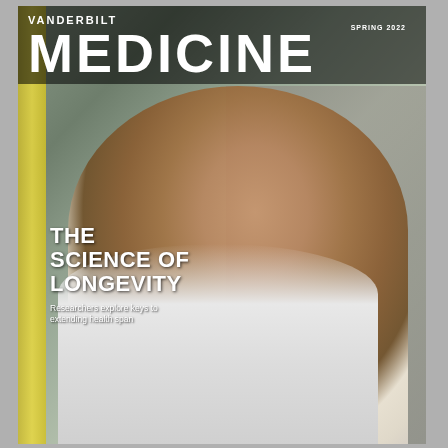VANDERBILT  SPRING 2022
MEDICINE
[Figure (photo): Cover photo of Vanderbilt Medicine Spring 2022. A smiling older Black woman with gray hair, wearing a white cardigan and a floral ruffled blouse, photographed outdoors against a stone/concrete background with a yellow pillar visible on the left. She is laughing joyfully.]
THE SCIENCE OF LONGEVITY
Researchers explore keys to extending health span